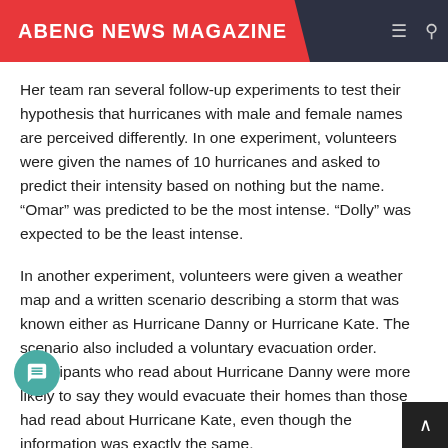ABENG NEWS MAGAZINE
Her team ran several follow-up experiments to test their hypothesis that hurricanes with male and female names are perceived differently. In one experiment, volunteers were given the names of 10 hurricanes and asked to predict their intensity based on nothing but the name. “Omar” was predicted to be the most intense. “Dolly” was expected to be the least intense.
In another experiment, volunteers were given a weather map and a written scenario describing a storm that was known either as Hurricane Danny or Hurricane Kate. The scenario also included a voluntary evacuation order. Participants who read about Hurricane Danny were more likely to say they would evacuate their homes than those had read about Hurricane Kate, even though the information was exactly the same.